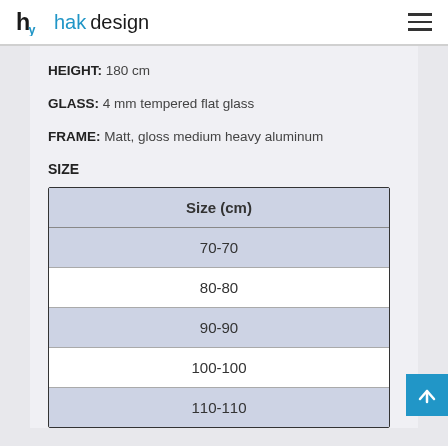hakdesign
HEIGHT: 180 cm
GLASS: 4 mm tempered flat glass
FRAME: Matt, gloss medium heavy aluminum
SIZE
| Size (cm) |
| --- |
| 70-70 |
| 80-80 |
| 90-90 |
| 100-100 |
| 110-110 |